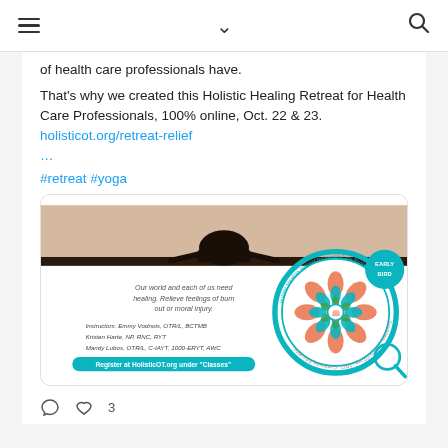≡ ∨ 🔍
of health care professionals have.
That's why we created this Holistic Healing Retreat for Health Care Professionals, 100% online, Oct. 22 & 23. holisticot.org/retreat-relief …
#retreat #yoga
[Figure (photo): Promotional image for Holistic Healing Retreat for Health Care Professionals with a person meditating silhouette at top, mandala/lotus logo on right with 'EARLY BIRD' badge, text about healing and burn out, instructor names (Emmy Vodnois OTR/L BCTMB, Kristen Harte NP RNC RYT, Mandy Lubos OTR/L C-IAYT 1000-ERYT AWC), and 'Register at HolisticOT.org under Classes' button.]
💬  🤍 3